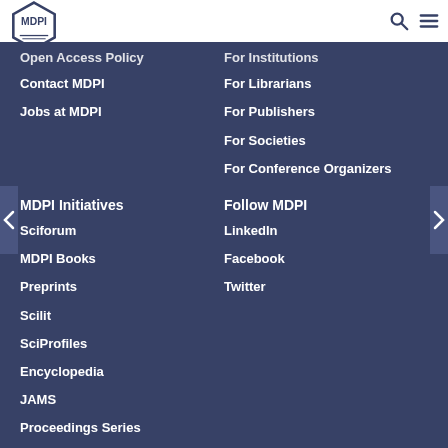MDPI
Open Access Policy
For Institutions
Contact MDPI
For Librarians
Jobs at MDPI
For Publishers
For Societies
For Conference Organizers
MDPI Initiatives
Follow MDPI
Sciforum
LinkedIn
MDPI Books
Facebook
Preprints
Twitter
Scilit
SciProfiles
Encyclopedia
JAMS
Proceedings Series